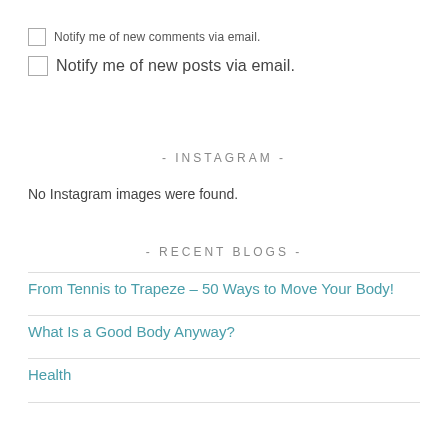Notify me of new comments via email.
Notify me of new posts via email.
- INSTAGRAM -
No Instagram images were found.
- RECENT BLOGS -
From Tennis to Trapeze – 50 Ways to Move Your Body!
What Is a Good Body Anyway?
Health